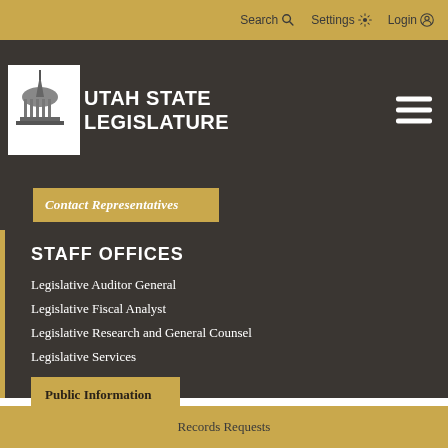Search  Settings  Login
[Figure (logo): Utah State Legislature logo with capitol building icon and white text]
Contact Representatives
STAFF OFFICES
Legislative Auditor General
Legislative Fiscal Analyst
Legislative Research and General Counsel
Legislative Services
Public Information
Records Requests